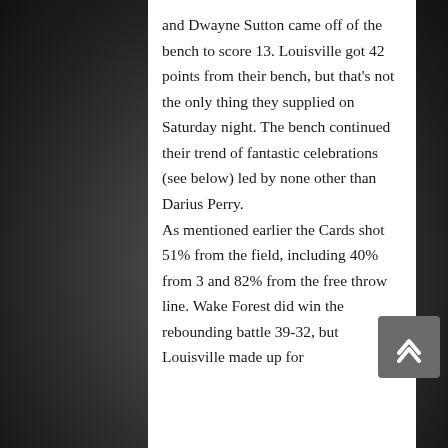and Dwayne Sutton came off of the bench to score 13. Louisville got 42 points from their bench, but that's not the only thing they supplied on Saturday night. The bench continued their trend of fantastic celebrations (see below) led by none other than Darius Perry.

As mentioned earlier the Cards shot 51% from the field, including 40% from 3 and 82% from the free throw line. Wake Forest did win the rebounding battle 39-32, but Louisville made up for